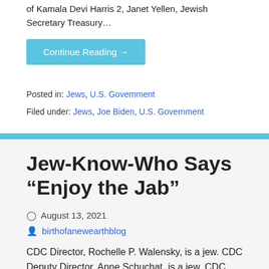of Kamala Devi Harris 2, Janet Yellen, Jewish Secretary Treasury…
Continue Reading →
Posted in: Jews, U.S. Government
Filed under: Jews, Joe Biden, U.S. Government
Jew-Know-Who Says “Enjoy the Jab”
August 13, 2021
birthofanewearthblog
CDC Director, Rochelle P. Walensky, is a jew. CDC Deputy Director, Anne Schuchat, is a jew. CDC Chief of Staff,...